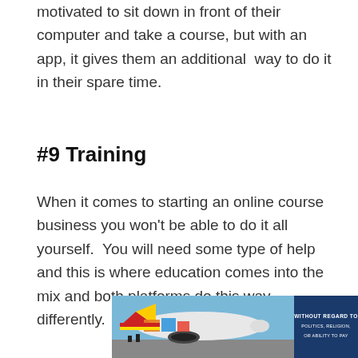motivated to sit down in front of their computer and take a course, but with an app, it gives them an additional  way to do it in their spare time.
#9 Training
When it comes to starting an online course business you won't be able to do it all yourself.  You will need some type of help and this is where education comes into the mix and both platforms do this way differently.
[Figure (photo): Advertisement banner showing a cargo airplane being loaded, with a dark blue box on the right reading 'WITHOUT REGARD TO POLITICS, RELIGION, OR ABILITY TO PAY']